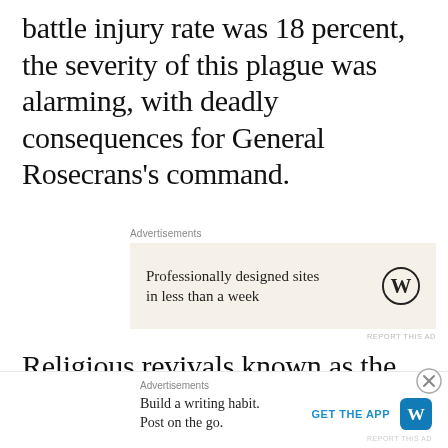battle injury rate was 18 percent, the severity of this plague was alarming, with deadly consequences for General Rosecrans's command.
[Figure (screenshot): Advertisement block: WordPress ad showing 'Professionally designed sites in less than a week' with WordPress logo on beige background. Labeled 'Advertisements' above.]
Religious revivals known as the Second Great Awakening had swept across the country in the mid-1830s. The result of
[Figure (screenshot): Bottom advertisement: WordPress ad showing 'Build a writing habit. Post on the go.' with GET THE APP button and WordPress logo. Labeled 'Advertisements' above.]